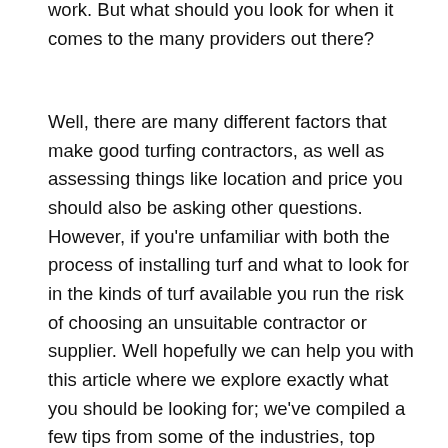work. But what should you look for when it comes to the many providers out there?
Well, there are many different factors that make good turfing contractors, as well as assessing things like location and price you should also be asking other questions. However, if you're unfamiliar with both the process of installing turf and what to look for in the kinds of turf available you run the risk of choosing an unsuitable contractor or supplier. Well hopefully we can help you with this article where we explore exactly what you should be looking for; we've compiled a few tips from some of the industries, top experts, to help you make the right choice, even for the first time.